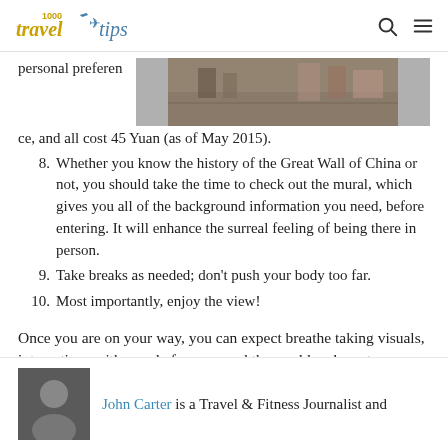1000 travel tips
personal preference, and all cost 45 Yuan (as of May 2015).
[Figure (photo): Overhead view of a street scene, likely at the Great Wall of China area]
8. Whether you know the history of the Great Wall of China or not, you should take the time to check out the mural, which gives you all of the background information you need, before entering. It will enhance the surreal feeling of being there in person.
9. Take breaks as needed; don’t push your body too far.
10. Most importantly, enjoy the view!
Once you are on your way, you can expect breathe taking visuals, interactions with people from around the world and most importantly making a memory that will last a lifetime!
John Carter is a Travel & Fitness Journalist and